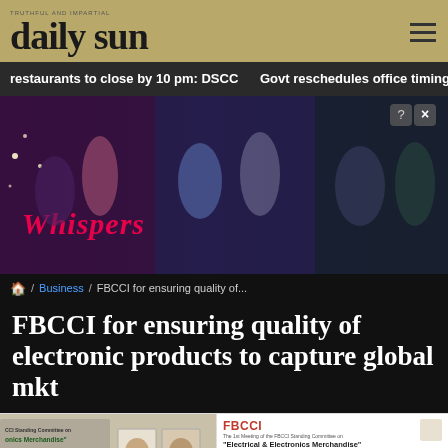daily sun
restaurants to close by 10 pm: DSCC   Govt reschedules office timing
[Figure (illustration): Whispers game advertisement banner showing animated characters]
/ Business / FBCCI for ensuring quality of...
FBCCI for ensuring quality of electronic products to capture global mkt
[Figure (photo): Photo strip showing FBCCI meeting event with banner and attendees on left, and FBCCI Standing Committee meeting details panel on right showing Chief Guest Md. Jashim Uddin President FBCCI, Director-in-Charge M. A. Razzak Khan Raj Vice President FBCCI, Chairman Engr. Mohabbat Ullah First Director FBCCI]